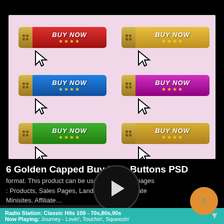[Figure (screenshot): Screenshot showing 6 colorful 'BUY NOW' buttons with golden caps, star ratings, and cursor pointer icons. Two columns, three rows: red button, gold button, blue button, purple button, green button, gold button.]
6 Golden Capped Buy Now Buttons PSD
format. This product can be used to enhance pages : Products, Sales Pages, Landing Pages. Affiliate Minisites. Affiliate...
Radio Station: Classic Hits 109 - 70s,80s,90s
Now Playing: Journey - Lovin', Touchin', Squeezin'